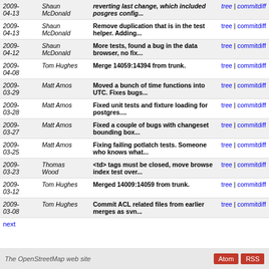| Date | Author | Message | Links |
| --- | --- | --- | --- |
| 2009-04-13 | Shaun McDonald | reverting last change, which included posgres config... | tree | commitdiff |
| 2009-04-13 | Shaun McDonald | Remove duplication that is in the test helper. Adding... | tree | commitdiff |
| 2009-04-12 | Shaun McDonald | More tests, found a bug in the data browser, no fix... | tree | commitdiff |
| 2009-04-08 | Tom Hughes | Merge 14059:14394 from trunk. | tree | commitdiff |
| 2009-03-29 | Matt Amos | Moved a bunch of time functions into UTC. Fixes bugs... | tree | commitdiff |
| 2009-03-28 | Matt Amos | Fixed unit tests and fixture loading for postgres.... | tree | commitdiff |
| 2009-03-27 | Matt Amos | Fixed a couple of bugs with changeset bounding box... | tree | commitdiff |
| 2009-03-25 | Matt Amos | Fixing failing potlatch tests. Someone who knows what... | tree | commitdiff |
| 2009-03-23 | Thomas Wood | <td> tags must be closed, move browse index test over... | tree | commitdiff |
| 2009-03-12 | Tom Hughes | Merged 14009:14059 from trunk. | tree | commitdiff |
| 2009-03-08 | Tom Hughes | Commit ACL related files from earlier merges as svn... | tree | commitdiff |
next
The OpenStreetMap web site | Atom | RSS